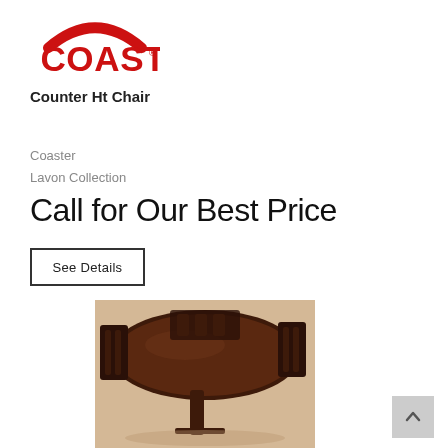[Figure (logo): Coaster brand logo with red arch above red text COASTER]
Counter Ht Chair
Coaster
Lavon Collection
Call for Our Best Price
See Details
[Figure (photo): Dark wood oval dining table with chairs around it, viewed from above at an angle]